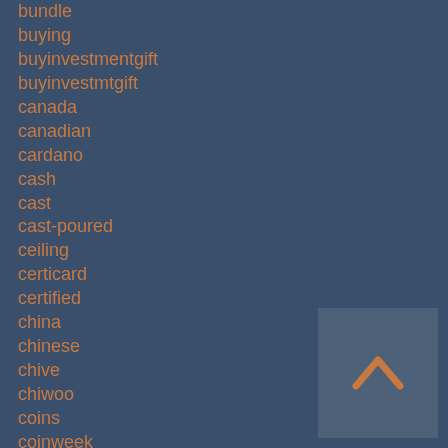bundle
buying
buyinvestmentgift
buyinvestmtgift
canada
canadian
cardano
cash
cast
cast-poured
ceiling
certicard
certified
china
chinese
chive
chiwoo
coins
coinweek
commemorative
counterfeit
countries
cracked
credit
daiwa
danbury
degussa
[Figure (other): Scroll-to-top button with upward chevron arrow icon in orange on a medium blue-grey square background]